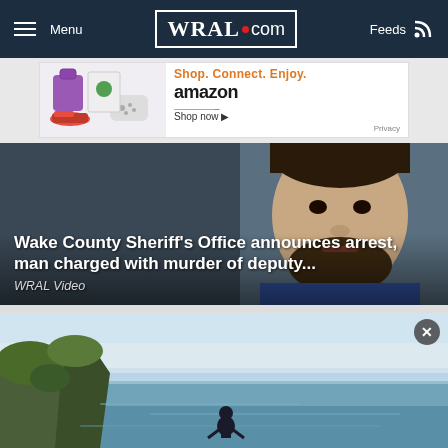Menu | WRAL.com | Feeds
[Figure (screenshot): Amazon advertisement banner: Shop. Connect. Enjoy. amazon Shop now ▶ Privacy]
[Figure (photo): News story image: close-up mugshot of a man with beard, blue background]
Wake County Sheriff's Office announces arrest, man charged with murder of deputy...
WRAL Video
[Figure (photo): Ocean landscape photo: a person standing on a cliff overlooking a calm blue sea with greenery on the left side]